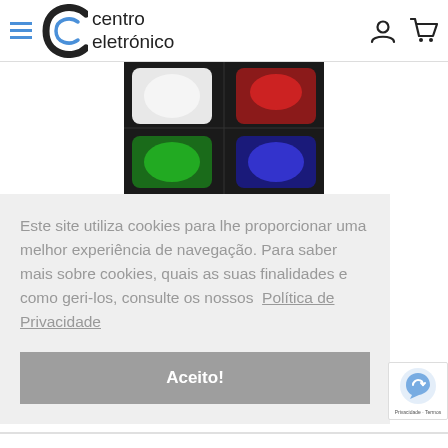centro eletrónico — navigation header with hamburger menu, logo, user icon, and cart icon
[Figure (photo): Product photo showing an LED light in four colors: white (top-left), red (top-right), green (bottom-left), blue (bottom-right) against a dark background]
Este site utiliza cookies para lhe proporcionar uma melhor experiência de navegação. Para saber mais sobre cookies, quais as suas finalidades e como geri-los, consulte os nossos  Política de Privacidade
Aceito!